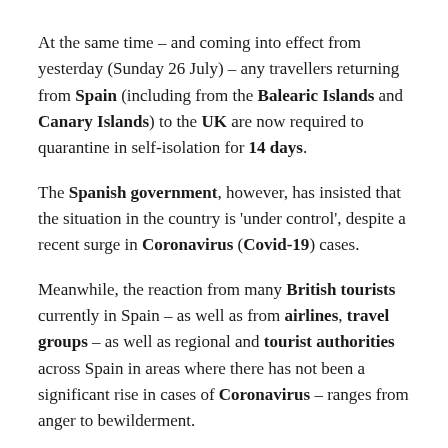At the same time – and coming into effect from yesterday (Sunday 26 July) – any travellers returning from Spain (including from the Balearic Islands and Canary Islands) to the UK are now required to quarantine in self-isolation for 14 days.
The Spanish government, however, has insisted that the situation in the country is 'under control', despite a recent surge in Coronavirus (Covid-19) cases.
Meanwhile, the reaction from many British tourists currently in Spain – as well as from airlines, travel groups – as well as regional and tourist authorities across Spain in areas where there has not been a significant rise in cases of Coronavirus – ranges from anger to bewilderment.
Spain is one of the most popular summer destinations for